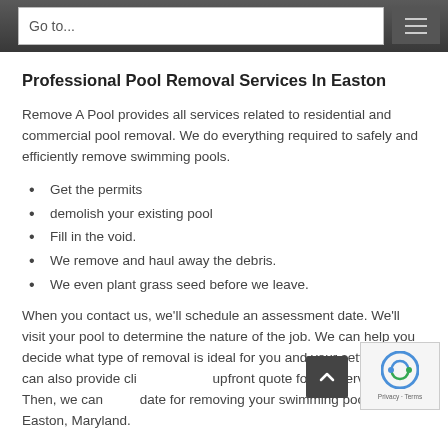Go to...
Professional Pool Removal Services In Easton
Remove A Pool provides all services related to residential and commercial pool removal. We do everything required to safely and efficiently remove swimming pools.
Get the permits
demolish your existing pool
Fill in the void.
We remove and haul away the debris.
We even plant grass seed before we leave.
When you contact us, we'll schedule an assessment date. We'll visit your pool to determine the nature of the job. We can help you decide what type of removal is ideal for you and your setting. We can also provide cli… upfront quote for our services. Then, we can… date for removing your swimming pool in Easton, Maryland.